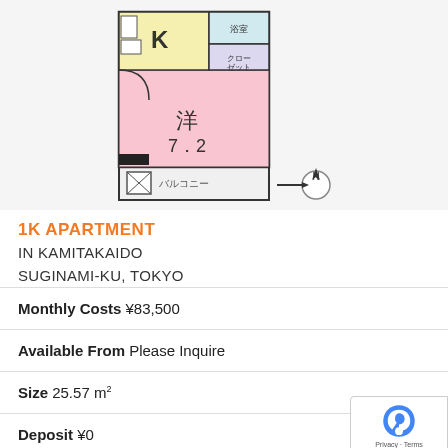[Figure (illustration): Floor plan of a 1K apartment showing a kitchen (K) area in yellow, a western-style room (洋 7.2 tatami) in pink, a bathroom, a closet, and a balcony (バルコニー). North compass indicator shown.]
1K APARTMENT
IN KAMITAKAIDO
SUGINAMI-KU, TOKYO
Monthly Costs ¥83,500
Available From Please Inquire
Size 25.57 m²
Deposit ¥0